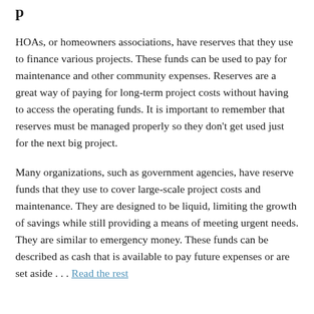p
HOAs, or homeowners associations, have reserves that they use to finance various projects. These funds can be used to pay for maintenance and other community expenses. Reserves are a great way of paying for long-term project costs without having to access the operating funds. It is important to remember that reserves must be managed properly so they don't get used just for the next big project.
Many organizations, such as government agencies, have reserve funds that they use to cover large-scale project costs and maintenance. They are designed to be liquid, limiting the growth of savings while still providing a means of meeting urgent needs. They are similar to emergency money. These funds can be described as cash that is available to pay future expenses or are set aside . . . Read the rest